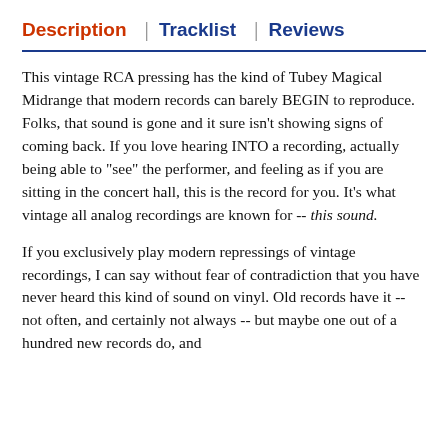Description | Tracklist | Reviews
This vintage RCA pressing has the kind of Tubey Magical Midrange that modern records can barely BEGIN to reproduce. Folks, that sound is gone and it sure isn't showing signs of coming back. If you love hearing INTO a recording, actually being able to "see" the performer, and feeling as if you are sitting in the concert hall, this is the record for you. It's what vintage all analog recordings are known for -- this sound.
If you exclusively play modern repressings of vintage recordings, I can say without fear of contradiction that you have never heard this kind of sound on vinyl. Old records have it -- not often, and certainly not always -- but maybe one out of a hundred new records do, and